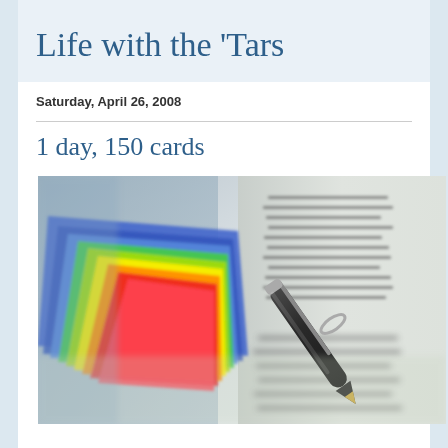Life with the 'Tars
Saturday, April 26, 2008
1 day, 150 cards
[Figure (photo): Close-up photo of colorful index cards (rainbow colors: blue, green, yellow, orange, red) fanned out next to an open book with a pen resting on it]